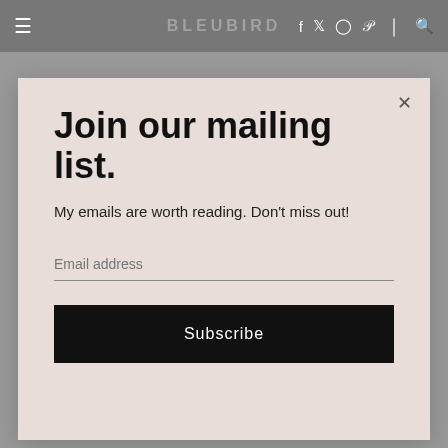≡  [site logo]  f  t  ○  p  |  🔍
Join our mailing list.
My emails are worth reading. Don't miss out!
Email address
Subscribe
come to grips with the fact that the Lemon Pucker Pistachios just might not make it back to the snack rotation at Nature Box, so what's a girl to do but set